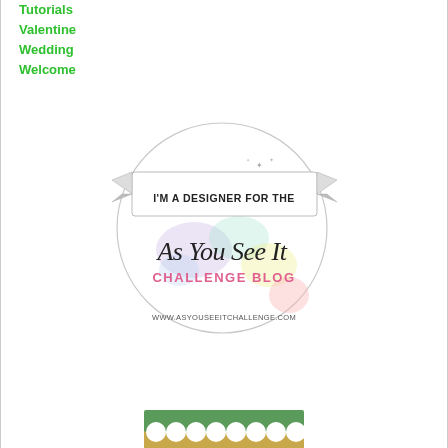Tutorials
Valentine
Wedding
Welcome
[Figure (logo): Badge graphic reading 'I'm a Designer for the As You See It Challenge Blog' with colorful watercolor spots and ribbon banner, URL: WWW.ASYOUSEEITCHALLENGE.COM]
[Figure (illustration): Decorative green and tan scallop/arch strip banner at the bottom of the page]